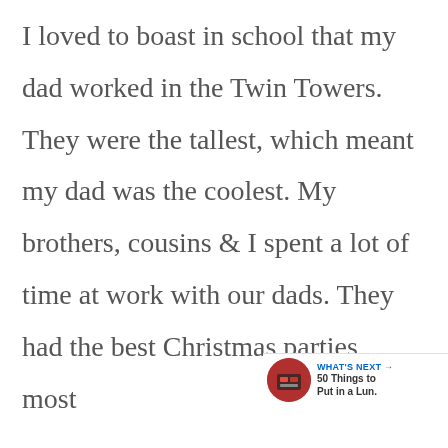I loved to boast in school that my dad worked in the Twin Towers. They were the tallest, which meant my dad was the coolest. My brothers, cousins & I spent a lot of time at work with our dads. They had the best Christmas parties, most amazing Bring Your Daughters to
[Figure (other): A small advertisement widget in the bottom right corner showing a circular image of a lunchbox/food item, with label 'WHAT'S NEXT' and text '50 Things to Put in a Lun.']